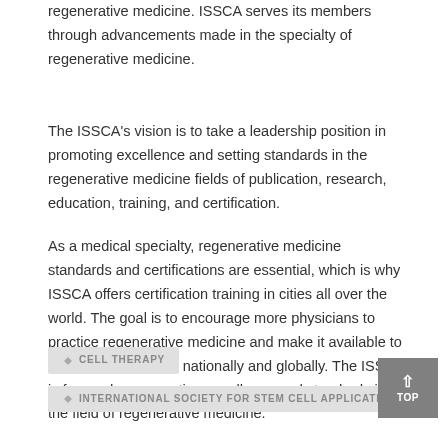regenerative medicine. ISSCA serves its members through advancements made in the specialty of regenerative medicine.
The ISSCA's vision is to take a leadership position in promoting excellence and setting standards in the regenerative medicine fields of publication, research, education, training, and certification.
As a medical specialty, regenerative medicine standards and certifications are essential, which is why ISSCA offers certification training in cities all over the world. The goal is to encourage more physicians to practice regenerative medicine and make it available to benefit patients both nationally and globally. The ISSCA is focused on promoting excellence and standards in the field of regenerative medicine.
CELL THERAPY
INTERNATIONAL SOCIETY FOR STEM CELL APPLICATION